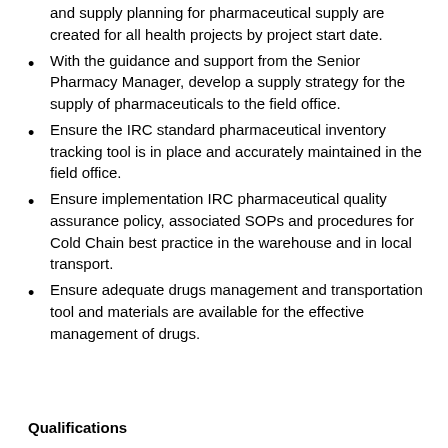and supply planning for pharmaceutical supply are created for all health projects by project start date.
With the guidance and support from the Senior Pharmacy Manager, develop a supply strategy for the supply of pharmaceuticals to the field office.
Ensure the IRC standard pharmaceutical inventory tracking tool is in place and accurately maintained in the field office.
Ensure implementation IRC pharmaceutical quality assurance policy, associated SOPs and procedures for Cold Chain best practice in the warehouse and in local transport.
Ensure adequate drugs management and transportation tool and materials are available for the effective management of drugs.
Qualifications